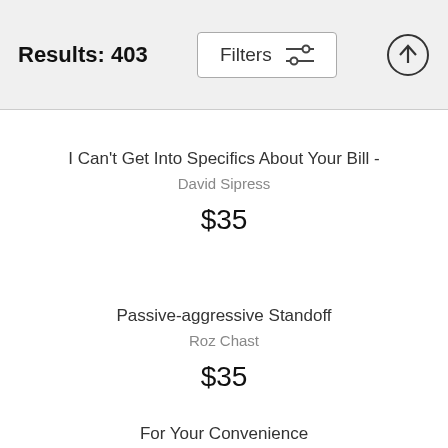Results: 403
I Can't Get Into Specifics About Your Bill - David Sipress $35
Passive-aggressive Standoff Roz Chast $35
For Your Convenience